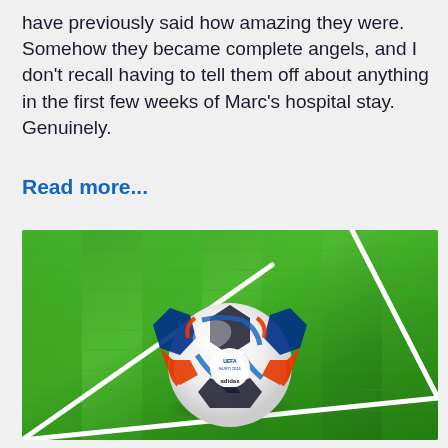have previously said how amazing they were. Somehow they became complete angels, and I don't recall having to tell them off about anything in the first few weeks of Marc's hospital stay. Genuinely.
Read more...
[Figure (photo): A white, blue, red and black Adidas UEFA Euro 2016 soccer ball resting on green artificial grass at a corner kick spot, with white lines visible on the pitch.]